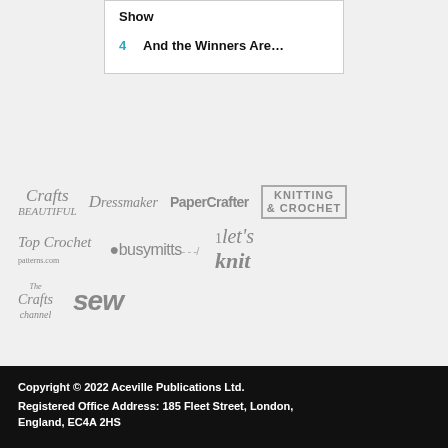Show
4  And the Winners Are…
[Figure (logo): Collection of brand logos in grey: Crafts Beautiful, Dressmaker, PaperCrafter, Knitting & Crochet, Top Crochet patterns.com, busymitts, let's knit, The Crafts channel, sew]
Copyright © 2022 Aceville Publications Ltd. Registered Office Address: 185 Fleet Street, London, England, EC4A 2HS